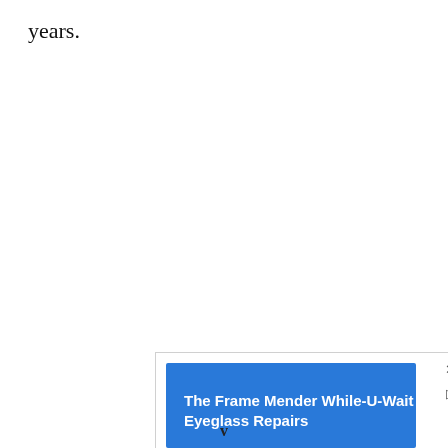years.
[Figure (other): Advertisement banner for 'The Frame Mender While-U-Wait Eyeglass Repairs' with blue background, close (X) button and play button on the right side.]
v